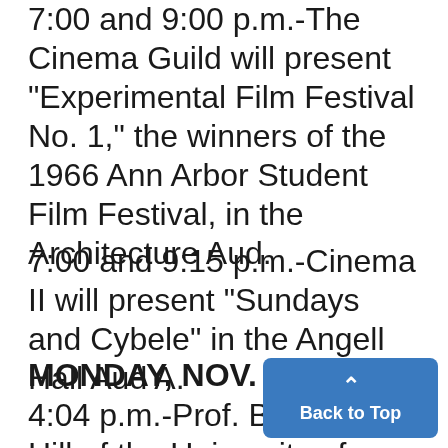7:00 and 9:00 p.m.-The Cinema Guild will present "Experimental Film Festival No. 1," the winners of the 1966 Ann Arbor Student Film Festival, in the Architecture Aud.
7:00 and 9:15 p.m.-Cinema II will present "Sundays and Cybele" in the Angell Hall Aud A.
MONDAY, NOV. 14S
4:04 p.m.-Prof. Bradford Hill of the University of London will lecture on "New Drugs, Their Introduction and Evaluation" in t